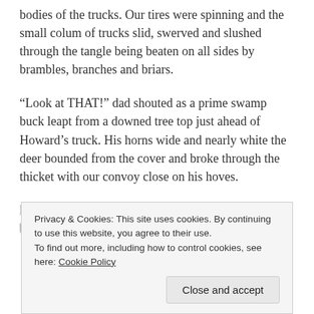bodies of the trucks. Our tires were spinning and the small colum of trucks slid, swerved and slushed through the tangle being beaten on all sides by brambles, branches and briars.
“Look at THAT!” dad shouted as a prime swamp buck leapt from a downed tree top just ahead of Howard’s truck. His horns wide and nearly white the deer bounded from the cover and broke through the thicket with our convoy close on his hoves.
Howard cut a hard right turn and followed the big buck
Privacy & Cookies: This site uses cookies. By continuing to use this website, you agree to their use.
To find out more, including how to control cookies, see here: Cookie Policy
Close and accept